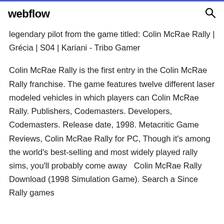webflow
legendary pilot from the game titled: Colin McRae Rally | Grécia | S04 | Kariani - Tribo Gamer
Colin McRae Rally is the first entry in the Colin McRae Rally franchise. The game features twelve different laser modeled vehicles in which players can Colin McRae Rally. Publishers, Codemasters. Developers, Codemasters. Release date, 1998. Metacritic Game Reviews, Colin McRae Rally for PC, Though it's among the world's best-selling and most widely played rally sims, you'll probably come away  Colin McRae Rally Download (1998 Simulation Game). Search a Since Rally games